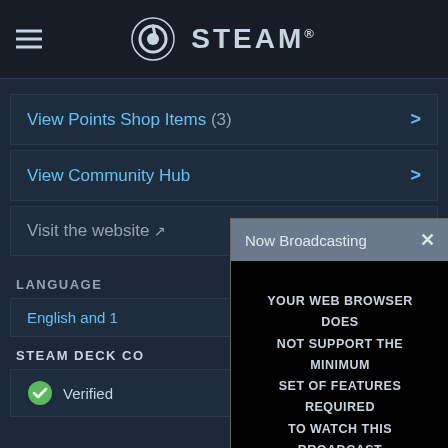STEAM
View Points Shop Items (3) >
View Community Hub >
Visit the website ↗
LANGUAGE
English and ...
STEAM DECK CO...
✓ Verified
[Figure (screenshot): Now Broadcasting modal dialog with message: YOUR WEB BROWSER DOES NOT SUPPORT THE MINIMUM SET OF FEATURES REQUIRED TO WATCH THIS BROADCAST]